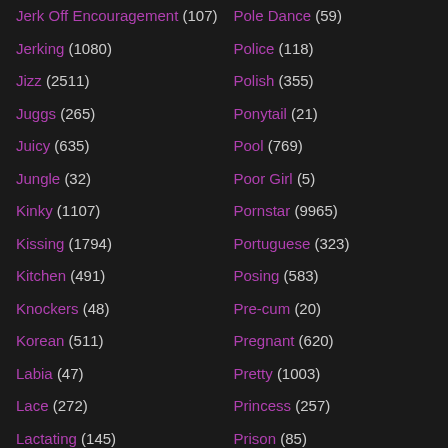Jerk Off Encouragement (107)
Jerking (1080)
Jizz (2511)
Juggs (265)
Juicy (635)
Jungle (32)
Kinky (1107)
Kissing (1794)
Kitchen (491)
Knockers (48)
Korean (511)
Labia (47)
Lace (272)
Lactating (145)
Lady (928)
Ladyboy (872)
Pole Dance (59)
Police (118)
Polish (355)
Ponytail (21)
Pool (769)
Poor Girl (5)
Pornstar (9965)
Portuguese (323)
Posing (583)
Pre-cum (20)
Pregnant (620)
Pretty (1003)
Princess (257)
Prison (85)
Private (454)
Prolapse (67)